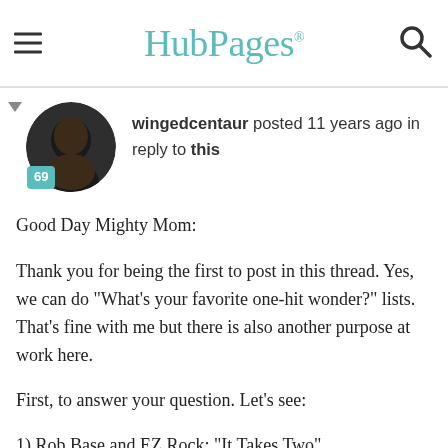HubPages
[Figure (photo): Profile photo of user wingedcentaur, circular avatar showing a man, with a teal badge showing '69']
wingedcentaur posted 11 years ago in reply to this
Good Day Mighty Mom:
Thank you for being the first to post in this thread. Yes, we can do "What's your favorite one-hit wonder?" lists. That's fine with me but there is also another purpose at work here.
First, to answer your question. Let's see:
1) Rob Base and EZ Rock: "It Takes Two"
2) Mica Paris: My One Temptation
3) Joyce Sims: Come into My Life